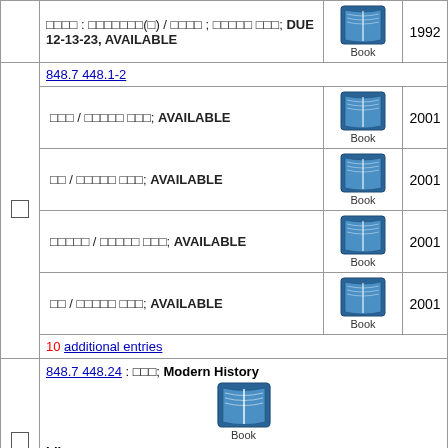| checkbox | info | icon | year |
| --- | --- | --- | --- |
|  | □□□□ : □□□□□□□(□) / □□□□ ; □□□□□ □□□; DUE 12-13-23, AVAILABLE | Book | 1992 |
|  | 848.7 448.1-2 |  |  |
|  | □□□ / □□□□□ □□□; AVAILABLE | Book | 2001 |
|  | □□ / □□□□□ □□□; AVAILABLE | Book | 2001 |
|  | □□□□□ / □□□□□ □□□; AVAILABLE | Book | 2001 |
|  | □□ / □□□□□ □□□; AVAILABLE | Book | 2001 |
|  | 10 additional entries |  |  |
|  | 848.7 448.24 : □□□; Modern History Book Library; |  |  |
|  | □□□ / □□□□□ □□□; AVAILABLE | Book | 1999 |